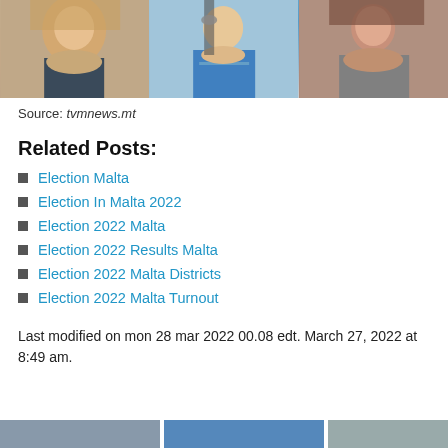[Figure (photo): Three portrait photos of women side by side. Left: blonde woman in dark jacket. Center: woman in blue jacket at podium with microphone. Right: brunette woman.]
Source: tvmnews.mt
Related Posts:
Election Malta
Election In Malta 2022
Election 2022 Malta
Election 2022 Results Malta
Election 2022 Malta Districts
Election 2022 Malta Turnout
Last modified on mon 28 mar 2022 00.08 edt. March 27, 2022 at 8:49 am.
[Figure (photo): Bottom strip showing partial images, cut off at page bottom.]